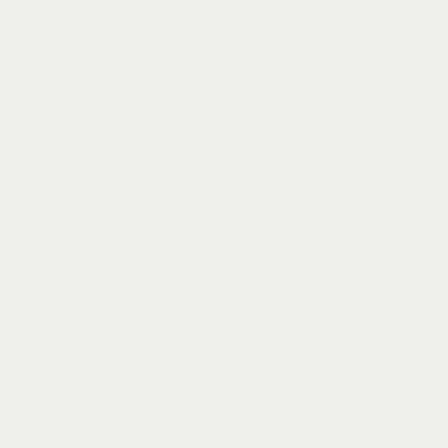admin
Log in
Nonetheless, the Montis had reason to ho... set up runners on 2nd and 3rd with two out...
Strike 1, taken.
Strike 2, taken.
Then a diving split-fingered fastball, some...
Fouled off, just barely, dribbing in the dirt...
And then like a Cinderella story gone terrib... balls, to grant Quach a walk and load up t...
And for a game as dramatic as this, who e... postseasons past, Joanna Maung. Natura...
The count is 3 and 2…
Pendergast kicks and fires…
fastball…
Maung swings…
it's lined
Simmons dives…
but he can't get it…
Reid scores with the tying run…
Kwong is rounding third…
Batchelder throws home…
Beasley takes it…